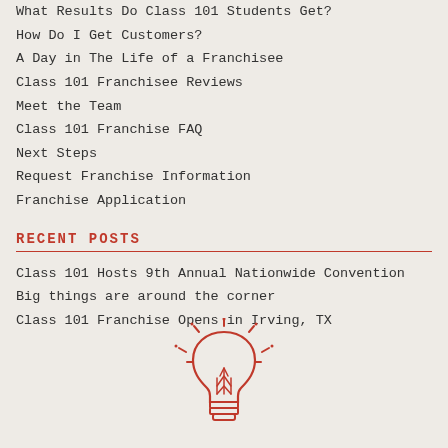What Results Do Class 101 Students Get?
How Do I Get Customers?
A Day in The Life of a Franchisee
Class 101 Franchisee Reviews
Meet the Team
Class 101 Franchise FAQ
Next Steps
Request Franchise Information
Franchise Application
RECENT POSTS
Class 101 Hosts 9th Annual Nationwide Convention
Big things are around the corner
Class 101 Franchise Opens in Irving, TX
[Figure (illustration): Red line-art illustration of a light bulb with rays, centered at bottom of page]